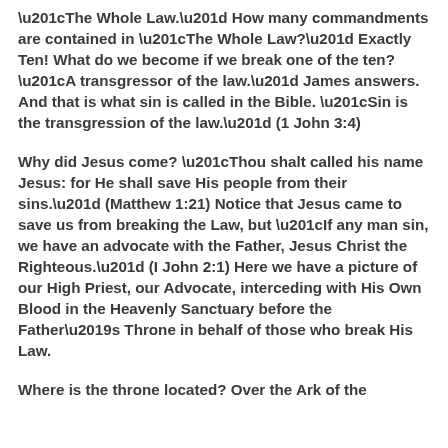“The Whole Law.”  How many commandments are contained in “The Whole Law?”  Exactly Ten!  What do we become if we break one of the ten?  “A transgressor of the law.”  James answers.  And that is what sin is called in the Bible.  “Sin is the transgression of the law.” (1 John 3:4)
Why did Jesus come?  “Thou shalt called his name Jesus: for He shall save His people from their sins.” (Matthew 1:21)   Notice that Jesus came to save us from breaking the Law, but “If any man sin, we have an advocate with the Father, Jesus Christ the Righteous.” (I John 2:1)  Here we have a picture of our High Priest, our Advocate, interceding with His Own Blood in the Heavenly Sanctuary before the Father’s Throne in behalf of those who break His Law.
Where is the throne located?  Over the Ark of the